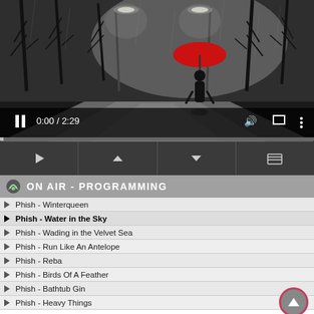[Figure (illustration): Rainy foggy scene with a silhouette of a person holding a red umbrella walking down a wet road lined with bare trees and street lamps]
0:00 / 2:29
[Figure (screenshot): Transport/playback control buttons: play, move up, move down, playlist/folder]
ON AIR - PROGRAMMING
Phish - Winterqueen
Phish - Water in the Sky
Phish - Wading in the Velvet Sea
Phish - Run Like An Antelope
Phish - Reba
Phish - Birds Of A Feather
Phish - Bathtub Gin
Phish - Heavy Things
Phish - Cars Trucks Buses
Phish - Fee
Phish - Limb by Limb